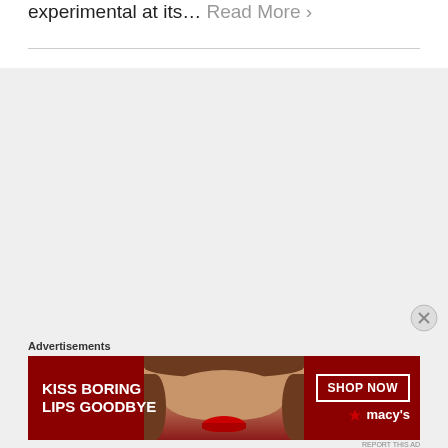experimental at its... Read More ›
[Figure (photo): Gray content area placeholder]
[Figure (illustration): Close button (X circle) in bottom right of gray area]
Advertisements
[Figure (photo): Macy's advertisement banner: 'KISS BORING LIPS GOODBYE' with woman's face and red lips, SHOP NOW button, Macy's star logo]